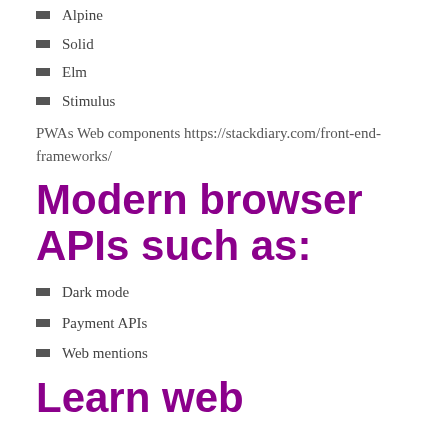Alpine
Solid
Elm
Stimulus
PWAs Web components https://stackdiary.com/front-end-frameworks/
Modern browser APIs such as:
Dark mode
Payment APIs
Web mentions
Learn web